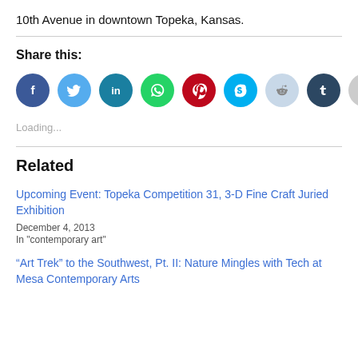10th Avenue in downtown Topeka, Kansas.
Share this:
[Figure (infographic): Row of social media share buttons: Facebook (blue), Twitter (light blue), LinkedIn (dark teal), WhatsApp (green), Pinterest (red), Skype (cyan), Reddit (light grey-blue), Tumblr (dark navy), Email (grey)]
Loading...
Related
Upcoming Event: Topeka Competition 31, 3-D Fine Craft Juried Exhibition
December 4, 2013
In "contemporary art"
“Art Trek” to the Southwest, Pt. II: Nature Mingles with Tech at Mesa Contemporary Arts